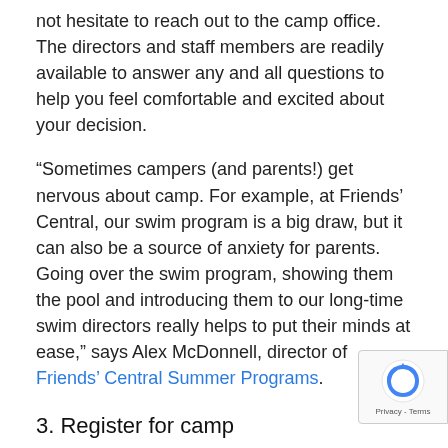not hesitate to reach out to the camp office. The directors and staff members are readily available to answer any and all questions to help you feel comfortable and excited about your decision.
“Sometimes campers (and parents!) get nervous about camp. For example, at Friends’ Central, our swim program is a big draw, but it can also be a source of anxiety for parents. Going over the swim program, showing them the pool and introducing them to our long-time swim directors really helps to put their minds at ease,” says Alex McDonnell, director of Friends’ Central Summer Programs.
3. Register for camp
Although summer camp only ended a few months ago, many camps have already opened up their